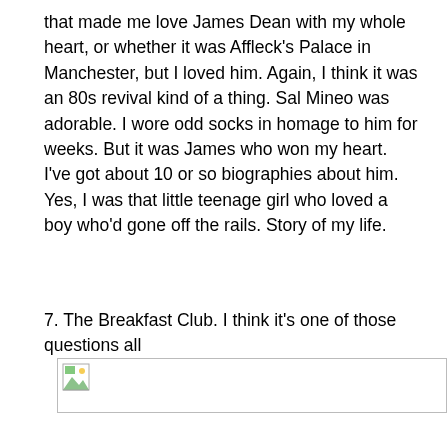that made me love James Dean with my whole heart, or whether it was Affleck's Palace in Manchester, but I loved him. Again, I think it was an 80s revival kind of a thing. Sal Mineo was adorable. I wore odd socks in homage to him for weeks. But it was James who won my heart. I've got about 10 or so biographies about him. Yes, I was that little teenage girl who loved a boy who'd gone off the rails. Story of my life.
7. The Breakfast Club. I think it's one of those questions all
[Figure (other): Broken/missing image placeholder icon]